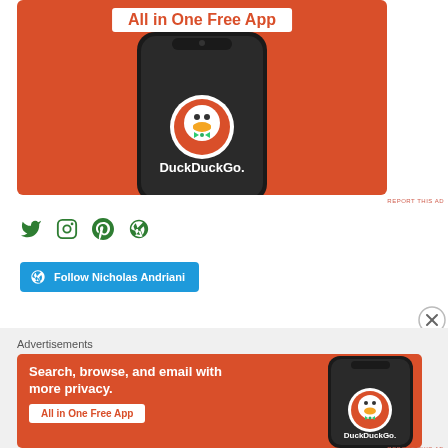[Figure (illustration): DuckDuckGo 'All in One Free App' advertisement banner with orange background, showing a smartphone with DuckDuckGo logo and app name]
REPORT THIS AD
[Figure (illustration): Social media icons: Twitter, Instagram, Pinterest, WordPress in green]
[Figure (illustration): Follow Nicholas Andriani button with WordPress icon on blue background]
[Figure (illustration): Close/X button circle]
Advertisements
[Figure (illustration): DuckDuckGo advertisement: 'Search, browse, and email with more privacy. All in One Free App' with smartphone showing DuckDuckGo logo on orange background]
REPORT THIS AD